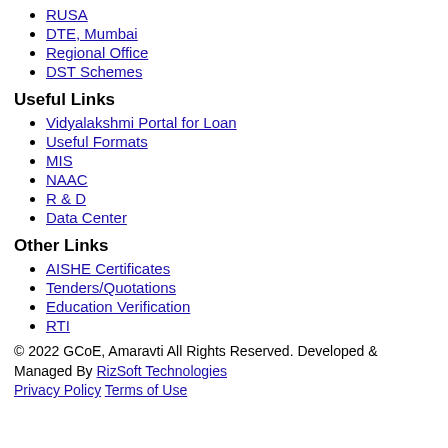RUSA
DTE, Mumbai
Regional Office
DST Schemes
Useful Links
Vidyalakshmi Portal for Loan
Useful Formats
MIS
NAAC
R & D
Data Center
Other Links
AISHE Certificates
Tenders/Quotations
Education Verification
RTI
© 2022 GCoE, Amaravti All Rights Reserved. Developed & Managed By RizSoft Technologies
Privacy Policy  Terms of Use